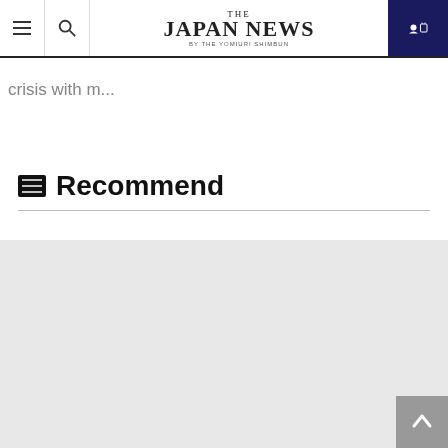After I was in an affair... I want to get married but I'm facing a relationship crisis being on my own crisis with m...
THE JAPAN NEWS BY THE YOMIURI SHIMBUN
Recommend
[Figure (other): Gray placeholder content area below Recommend section]